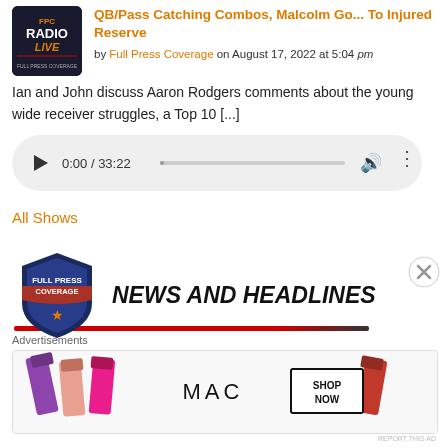QB/Pass Catching Combos, Malcolm Go... To Injured Reserve
by Full Press Coverage on August 17, 2022 at 5:04 pm
Ian and John discuss Aaron Rodgers comments about the young wide receiver struggles, a Top 10 [...]
[Figure (screenshot): Audio player showing 0:00 / 33:22 with play button, progress bar, volume icon, and more options icon]
All Shows
[Figure (logo): Full Press Coverage News and Headlines banner with shield logo and red underline]
Advertisements
[Figure (screenshot): MAC cosmetics advertisement showing lipsticks with SHOP NOW button]